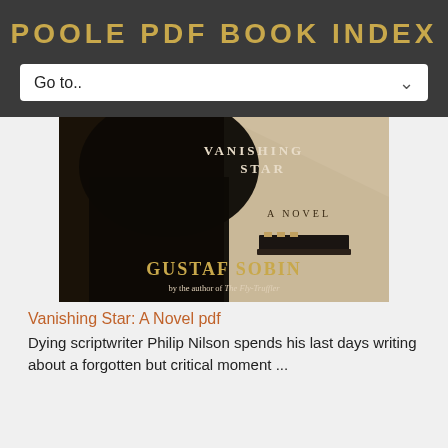POOLE PDF BOOK INDEX
[Figure (illustration): Book cover of 'Vanishing Star: A Novel' by Gustaf Sobin. Dark sepia-toned image showing a shadowy figure on the left, with the title text 'VANISHING STAR' at top and 'A NOVEL' in the middle right, author name 'GUSTAF SOBIN' in gold lettering near the bottom, with subtitle 'by the author of The Fly-Truffler' below.]
Vanishing Star: A Novel pdf
Dying scriptwriter Philip Nilson spends his last days writing about a forgotten but critical moment ...